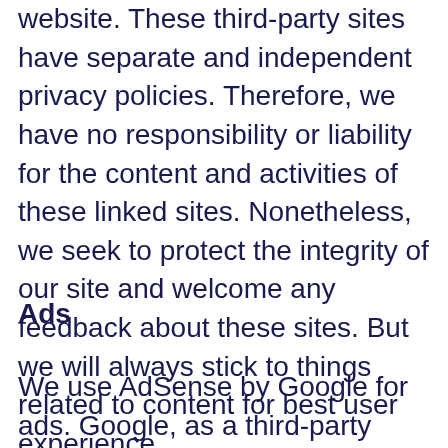website. These third-party sites have separate and independent privacy policies. Therefore, we have no responsibility or liability for the content and activities of these linked sites. Nonetheless, we seek to protect the integrity of our site and welcome any feedback about these sites. But we will always stick to things related to content for best user experience.
Ads
We use AdSense by Google for ads. Google, as a third-party vendor, uses cookies to serve ads on